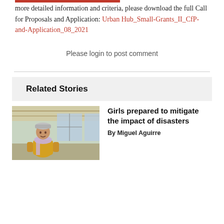more detailed information and criteria, please download the full Call for Proposals and Application: Urban Hub_Small-Grants_II_CfP-and-Application_08_2021
Please login to post comment
Related Stories
[Figure (photo): A girl wearing a yellow jacket, cap, and light purple scarf, standing inside a wooden structure with windows in the background.]
Girls prepared to mitigate the impact of disasters By Miguel Aguirre